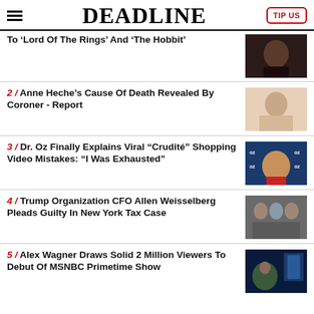DEADLINE
To ‘Lord Of The Rings’ And ‘The Hobbit’
2 / Anne Heche’s Cause Of Death Revealed By Coroner - Report
3 / Dr. Oz Finally Explains Viral “Crudité” Shopping Video Mistakes: “I Was Exhausted”
4 / Trump Organization CFO Allen Weisselberg Pleads Guilty In New York Tax Case
5 / Alex Wagner Draws Solid 2 Million Viewers To Debut Of MSNBC Primetime Show “Alex Wagner Tonight”